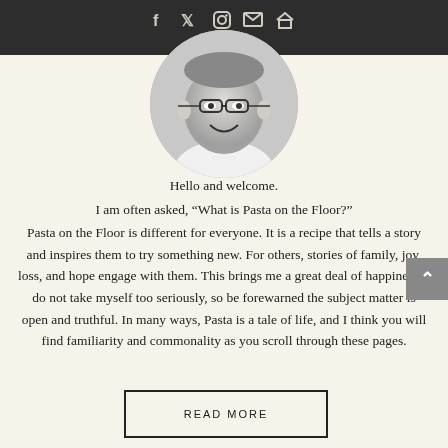f  Twitter  Instagram  Email  Home  ☰
[Figure (photo): Black and white circular portrait photo of a smiling person wearing glasses and a light-colored shirt]
Hello and welcome.
I am often asked, “What is Pasta on the Floor?”
Pasta on the Floor is different for everyone. It is a recipe that tells a story and inspires them to try something new. For others, stories of family, joy, loss, and hope engage with them. This brings me a great deal of happiness. I do not take myself too seriously, so be forewarned the subject matter is open and truthful. In many ways, Pasta is a tale of life, and I think you will find familiarity and commonality as you scroll through these pages.
READ MORE